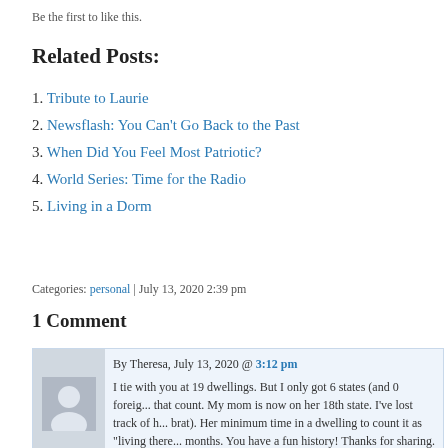Be the first to like this.
Related Posts:
1. Tribute to Laurie
2. Newsflash: You Can't Go Back to the Past
3. When Did You Feel Most Patriotic?
4. World Series: Time for the Radio
5. Living in a Dorm
Categories: personal | July 13, 2020 2:39 pm
1 Comment
By Theresa, July 13, 2020 @ 3:12 pm
I tie with you at 19 dwellings. But I only got 6 states (and 0 foreign countries) to count. My mom is now on her 18th state. I've lost track of how many dwellings (military brat). Her minimum time in a dwelling to count it as "living there" was 6 months. You have a fun history! Thanks for sharing.